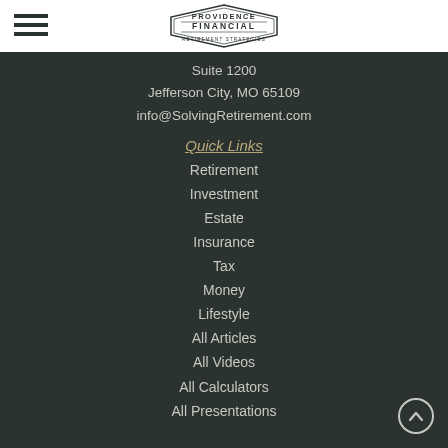Providence Financial — Retirement Strategies
Suite 1200
Jefferson City, MO 65109
info@SolvingRetirement.com
Quick Links
Retirement
Investment
Estate
Insurance
Tax
Money
Lifestyle
All Articles
All Videos
All Calculators
All Presentations